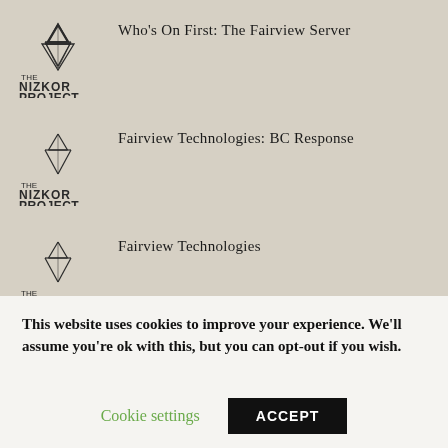Who's On First: The Fairview Server
Fairview Technologies: BC Response
Fairview Technologies
The History of Lies
This website uses cookies to improve your experience. We'll assume you're ok with this, but you can opt-out if you wish.
Cookie settings
ACCEPT